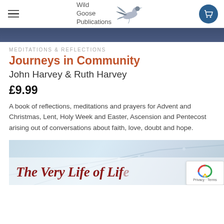Wild Goose Publications
[Figure (screenshot): Top portion of a book page on Wild Goose Publications website showing a dark blue/grey header image]
MEDITATIONS & REFLECTIONS
Journeys in Community
John Harvey & Ruth Harvey
£9.99
A book of reflections, meditations and prayers for Advent and Christmas, Lent, Holy Week and Easter, Ascension and Pentecost arising out of conversations about faith, love, doubt and hope.
[Figure (photo): Bottom book cover image showing 'The Very Life of Life' text over a light blue winter branches background]